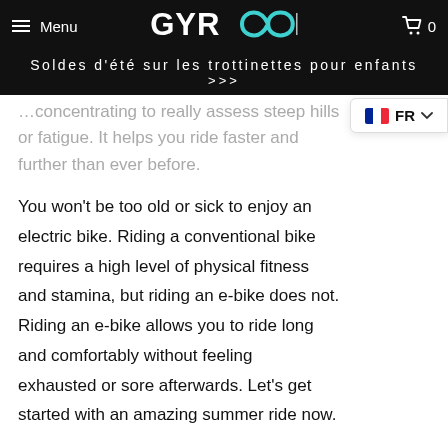Menu | GYROOR | 0
Soldes d'été sur les trottinettes pour enfants >>>
...concentrating to really assess steep hills or fatigue. It helps you ride faster and further than ever before.
You won't be too old or sick to enjoy an electric bike. Riding a conventional bike requires a high level of physical fitness and stamina, but riding an e-bike does not. Riding an e-bike allows you to ride long and comfortably without feeling exhausted or sore afterwards. Let's get started with an amazing summer ride now.
The Best Electric Bike for